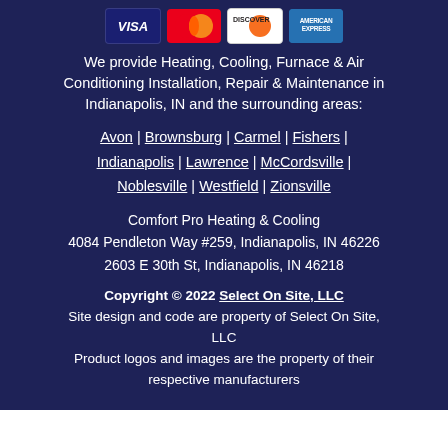[Figure (other): Payment card logos: Visa, Mastercard, Discover, American Express]
We provide Heating, Cooling, Furnace & Air Conditioning Installation, Repair & Maintenance in Indianapolis, IN and the surrounding areas:
Avon | Brownsburg | Carmel | Fishers | Indianapolis | Lawrence | McCordsville | Noblesville | Westfield | Zionsville
Comfort Pro Heating & Cooling
4084 Pendleton Way #259, Indianapolis, IN 46226
2603 E 30th St, Indianapolis, IN 46218
Copyright © 2022 Select On Site, LLC
Site design and code are property of Select On Site, LLC
Product logos and images are the property of their respective manufacturers